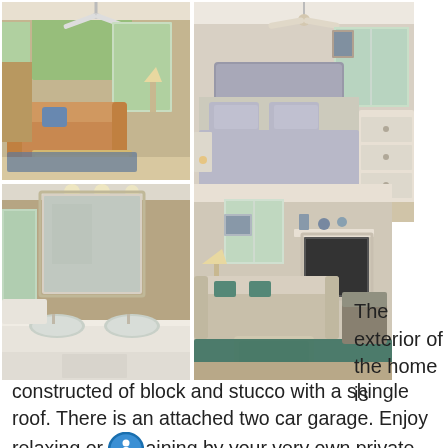[Figure (photo): Interior photo of a living room with tan leather sofa, coffee table, and view of greenery outside window. Ceiling fan visible.]
[Figure (photo): Interior photo of a bedroom with gray upholstered headboard, made bed with gray bedding, bench at foot of bed, dresser, and ceiling fan.]
[Figure (photo): Interior photo of a bathroom with double sink vanity, large mirror, and bathtub.]
[Figure (photo): Interior photo of a second living room with beige sofa, ottoman, fireplace, and teal area rug.]
The exterior of the home is constructed of block and stucco with a shingle roof. There is an attached two car garage. Enjoy relaxing or entertaining by your very own private pool and spa set on a backdrop of a beautifully manicured, luscious lawn.